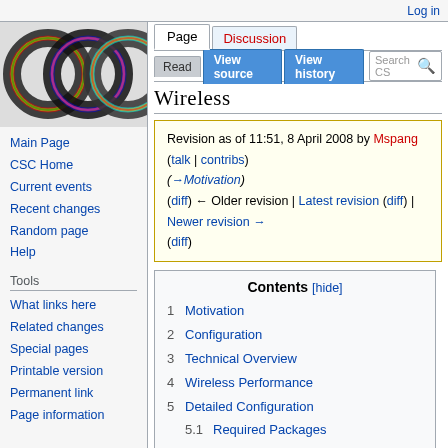Log in
[Figure (logo): Wikipedia-style interlocking rings logo with colorful cables]
Page | Discussion | Read | View source | View history | Search CS
Wireless
Revision as of 11:51, 8 April 2008 by Mspang (talk | contribs)
(→Motivation)
(diff) ← Older revision | Latest revision (diff) | Newer revision → (diff)
Main Page
CSC Home
Current events
Recent changes
Random page
Help
Tools
What links here
Related changes
Special pages
Printable version
Permanent link
Page information
Contents [hide]
1 Motivation
2 Configuration
3 Technical Overview
4 Wireless Performance
5 Detailed Configuration
5.1 Required Packages
5.2 Wireless Interface